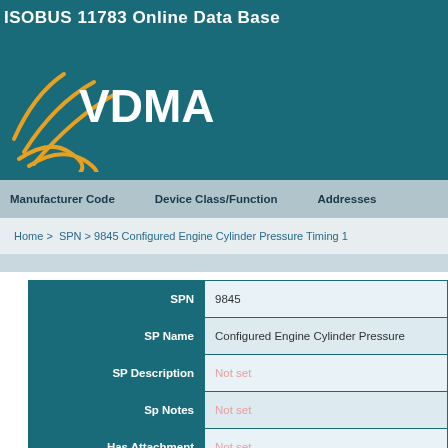ISOBUS 11783 Online Data Base
[Figure (logo): VDMA logo with swoosh lines in gold/orange and VDMA text in white on teal background]
Manufacturer Code   Device Class/Function   Addresses
Home > SPN > 9845 Configured Engine Cylinder Pressure Timing 1
| Field | Value |
| --- | --- |
| SPN | 9845 |
| SP Name | Configured Engine Cylinder Pressure |
| SP Description | Not set |
| Sp Notes | Not set |
| Has Attachment | Not set |